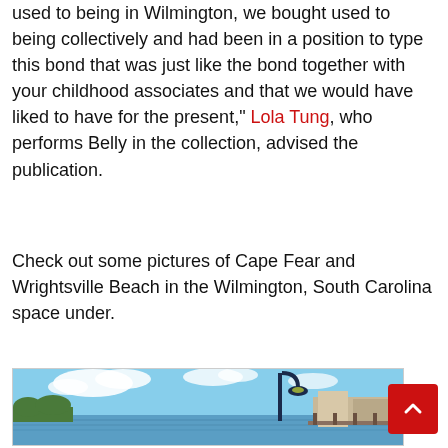used to being in Wilmington, we bought used to being collectively and had been in a position to type this bond that was just like the bond together with your childhood associates and that we would have liked to have for the present," Lola Tung, who performs Belly in the collection, advised the publication.
Check out some pictures of Cape Fear and Wrightsville Beach in the Wilmington, South Carolina space under.
[Figure (photo): A waterfront scene showing a river or bay with blue sky and clouds, a black street lamp in the foreground, and waterfront buildings/docks on the right side.]